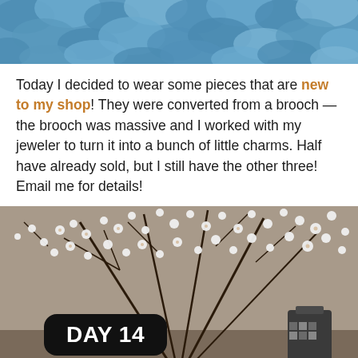[Figure (photo): Close-up photo of blue ruffled fabric or flowers at the top of the page]
Today I decided to wear some pieces that are new to my shop! They were converted from a brooch — the brooch was massive and I worked with my jeweler to turn it into a bunch of little charms. Half have already sold, but I still have the other three! Email me for details!
[Figure (photo): Black and white photo of cherry blossom branches in a decorative vase with a 'DAY 14' label overlay]